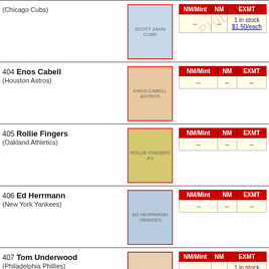(Chicago Cubs)
| NM/Mint | NM | EXMT |
| --- | --- | --- |
| -- | -- | 1 in stock $1.50/each |
404 Enos Cabell (Houston Astros)
| NM/Mint | NM | EXMT |
| --- | --- | --- |
| -- | -- | -- |
405 Rollie Fingers (Oakland Athletics)
| NM/Mint | NM | EXMT |
| --- | --- | --- |
| -- | -- | -- |
406 Ed Herrmann (New York Yankees)
| NM/Mint | NM | EXMT |
| --- | --- | --- |
| -- | -- | -- |
407 Tom Underwood (Philadelphia Phillies)
| NM/Mint | NM | EXMT |
| --- | --- | --- |
| -- | -- | 1 in stock $1.50/each |